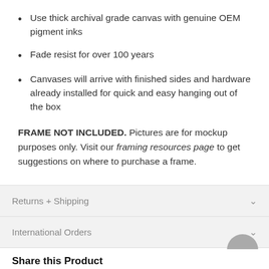Use thick archival grade canvas with genuine OEM pigment inks
Fade resist for over 100 years
Canvases will arrive with finished sides and hardware already installed for quick and easy hanging out of the box
FRAME NOT INCLUDED. Pictures are for mockup purposes only. Visit our framing resources page to get suggestions on where to purchase a frame.
Returns + Shipping
International Orders
Share this Product